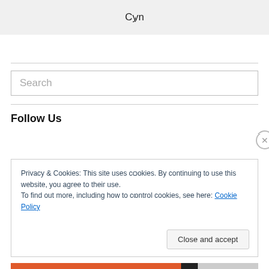Cyn
Search
Follow Us
Privacy & Cookies: This site uses cookies. By continuing to use this website, you agree to their use.
To find out more, including how to control cookies, see here: Cookie Policy
Close and accept